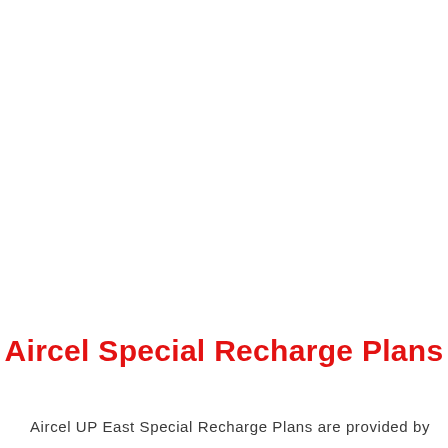Aircel Special Recharge Plans
Aircel UP East Special Recharge Plans are provided by